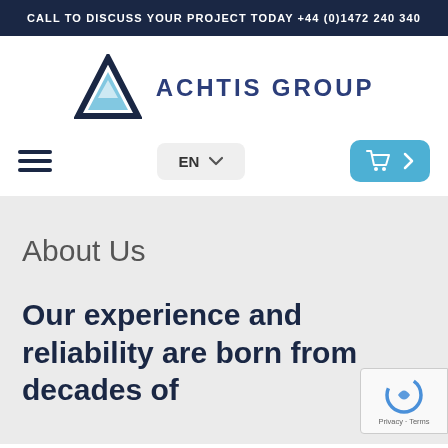CALL TO DISCUSS YOUR PROJECT TODAY +44 (0)1472 240 340
[Figure (logo): Achtis Group logo with dark blue triangle outline and light blue inner triangle, followed by text ACHTIS GROUP in dark blue uppercase letters]
[Figure (infographic): Navigation bar with hamburger menu icon on left, EN language selector with chevron in center-right, and a teal cart/basket button with arrow on far right]
About Us
Our experience and reliability are born from decades of